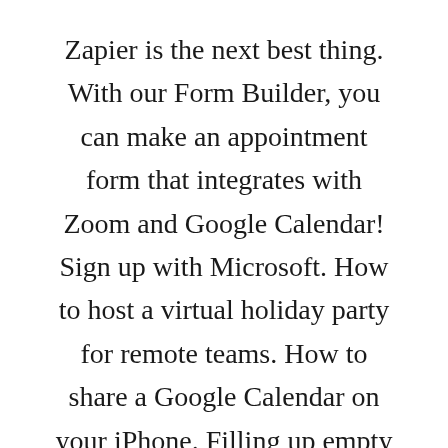Zapier is the next best thing. With our Form Builder, you can make an appointment form that integrates with Zoom and Google Calendar! Sign up with Microsoft. How to host a virtual holiday party for remote teams. How to share a Google Calendar on your iPhone. Filling up empty calendars with meetings hurts our productivity.